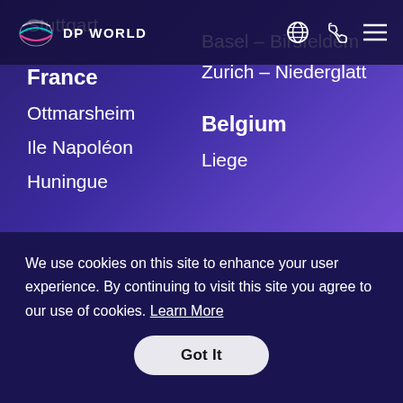[Figure (logo): DP World logo with stylized wave/globe icon and 'DP WORLD' text in white]
Stuttgart
Basel – Birsfeldem
Zurich – Niederglatt
France
Belgium
Ottmarsheim
Liege
Ile Napoléon
Huningue
We use cookies on this site to enhance your user experience. By continuing to visit this site you agree to our use of cookies. Learn More
Got It